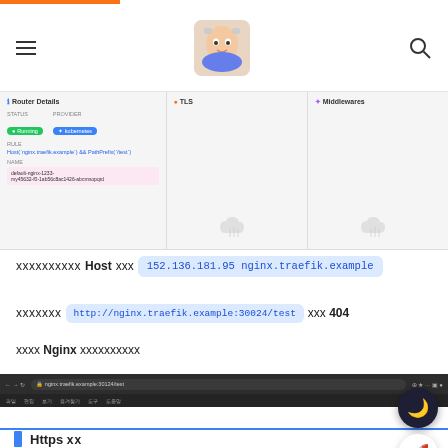Navigation header with hamburger menu, avatar logo, and search icon
[Figure (screenshot): Traefik router details panel showing Router Details, TLS, and Middlewares sections with status Running, provider kubernetes, rule, and name fields]
xxxxxxxxxx Host xxx  152.136.181.95  nginx.traefik.example
xxxxxxx  http://nginx.traefik.example:30024/test  xxx 404
xxxx Nginx xxxxxxxxxx
[Figure (screenshot): Browser screenshot showing 404 Not Found page from nginx/1.21.3 at nginx.traefik.example:30024/test]
Https xx